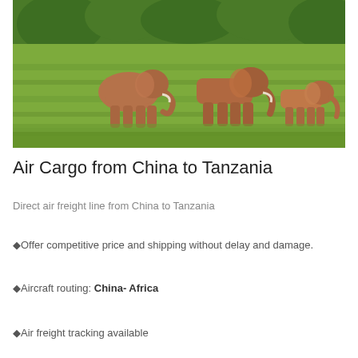[Figure (photo): Photograph of three elephants walking through lush green savanna grassland with trees in the background]
Air Cargo from China to Tanzania
Direct air freight line from China to Tanzania
✦Offer competitive price and shipping without delay and damage.
✦Aircraft routing: China- Africa
✦Air freight tracking available